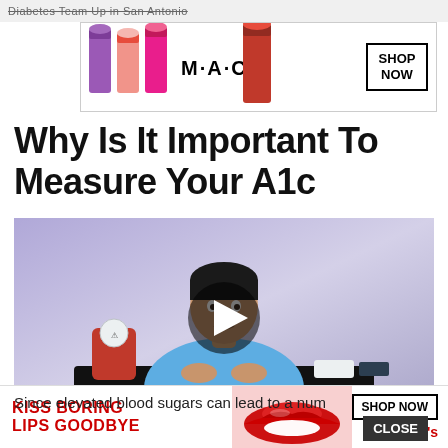Diabetes Team Up in San Antonio
[Figure (photo): MAC cosmetics advertisement banner showing lipsticks and MAC logo with SHOP NOW button]
Why Is It Important To Measure Your A1c
[Figure (photo): Video thumbnail showing a man in a blue shirt sitting at a table with medical supplies including a red sharps container, with a play button overlay]
Since elevated blood sugars can lead to a number of short- and long-term complications, it’s important to keep an eye on your A1c
[Figure (photo): Macy's advertisement banner for lip products with KISS BORING LIPS GOODBYE tagline, SHOP NOW button and Macy's logo]